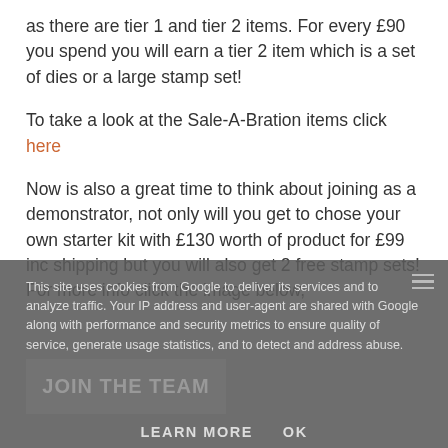as there are tier 1 and tier 2 items. For every £90 you spend you will earn a tier 2 item which is a set of dies or a large stamp set!
To take a look at the Sale-A-Bration items click here
Now is also a great time to think about joining as a demonstrator, not only will you get to chose your own starter kit with £130 worth of product for £99 inc shipping but you will also get 2 free stamp sets! For more info click the image below,
This site uses cookies from Google to deliver its services and to analyze traffic. Your IP address and user-agent are shared with Google along with performance and security metrics to ensure quality of service, generate usage statistics, and to detect and address abuse.
LEARN MORE   OK